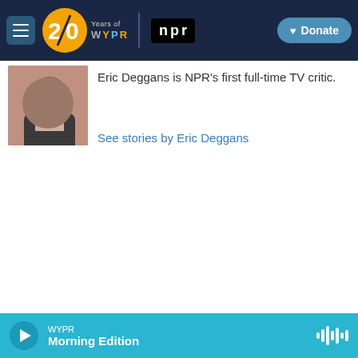[Figure (screenshot): WYPR 20 Years navigation bar with hamburger menu, WYPR logo, NPR logo, and Donate button on dark navy background]
[Figure (photo): Headshot photo of Eric Deggans, a man in a dark jacket]
Eric Deggans is NPR's first full-time TV critic.
See stories by Eric Deggans
[Figure (infographic): WYPR promotional banner: 'Become a sustainer and get extra' with WYPR circle logos (W, Y, P, R) and butterfly silhouettes on light blue background]
WYPR Morning Edition